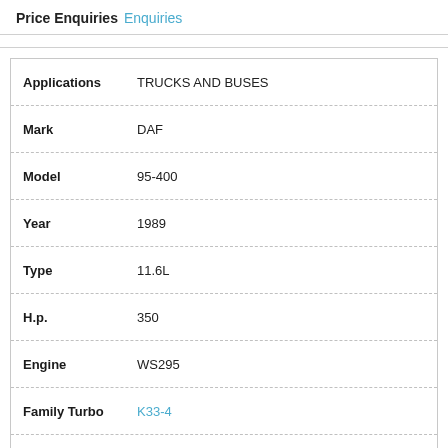Price Enquiries  Enquiries
| Field | Value |
| --- | --- |
| Applications | TRUCKS AND BUSES |
| Mark | DAF |
| Model | 95-400 |
| Year | 1989 |
| Type | 11.6L |
| H.p. | 350 |
| Engine | WS295 |
| Family Turbo | K33-4 |
| Turbo Code | 53339706410 |
| O.E.M Turbo Code | O89878 |
| Price Enquiries | Enquiries |